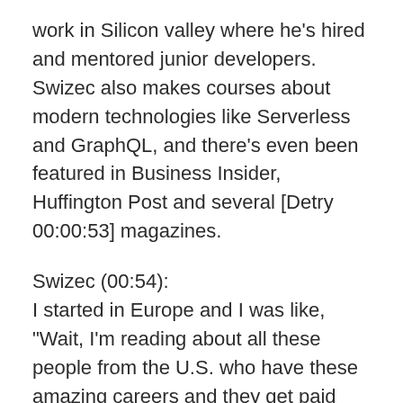work in Silicon valley where he's hired and mentored junior developers. Swizec also makes courses about modern technologies like Serverless and GraphQL, and there's even been featured in Business Insider, Huffington Post and several [Detry 00:00:53] magazines.
Swizec (00:54): I started in Europe and I was like, "Wait, I'm reading about all these people from the U.S. who have these amazing careers and they get paid ridiculous amounts of money. I want to have that kind of career." So that's been my vision to try to solve interesting